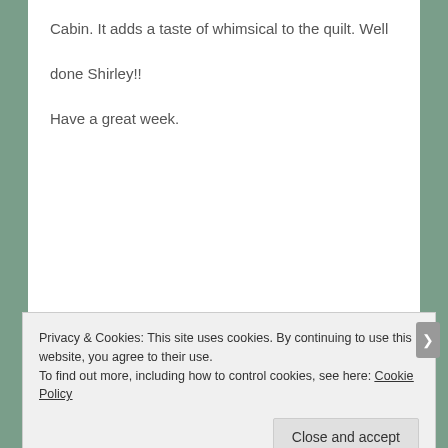Cabin. It adds a taste of whimsical to the quilt. Well

done Shirley!!

Have a great week.
[Figure (logo): Dark banner with a white circular logo icon and the text 'sensei' in white letters on a black background]
Privacy & Cookies: This site uses cookies. By continuing to use this website, you agree to their use.
To find out more, including how to control cookies, see here: Cookie Policy
Close and accept